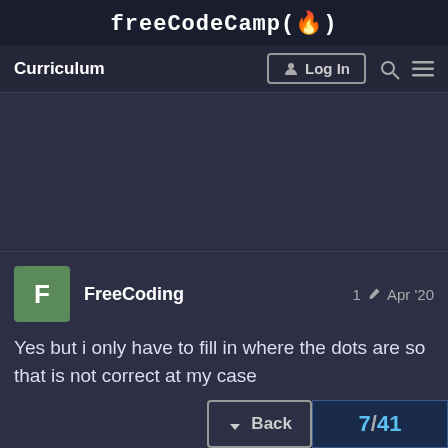freeCodeCamp(🔥)
Curriculum
Log In
FreeCoding  1 ✏  Apr '20
Yes but i only have to fill in where the dots are so that is not correct at my case
↓ Back
7/41